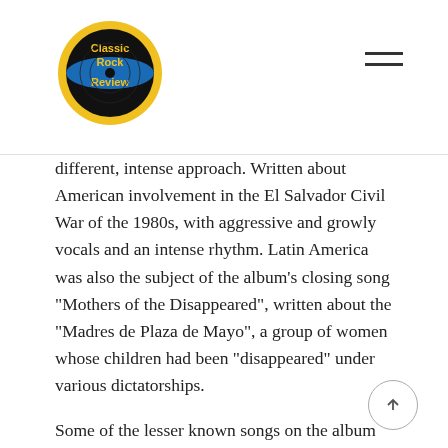Classic Rock Review
different, intense approach. Written about American involvement in the El Salvador Civil War of the 1980s, with aggressive and growly vocals and an intense rhythm. Latin America was also the subject of the album’s closing song “Mothers of the Disappeared”, written about the “Madres de Plaza de Mayo”, a group of women whose children had been “disappeared” under various dictatorships.
Some of the lesser known songs on the album explore various sub-genres of American music. “Running to Stand Still” is influenced by acoustic blues with a